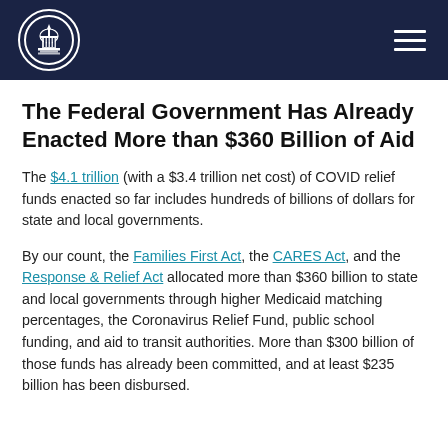The Federal Government [logo and navigation header]
The Federal Government Has Already Enacted More than $360 Billion of Aid
The $4.1 trillion (with a $3.4 trillion net cost) of COVID relief funds enacted so far includes hundreds of billions of dollars for state and local governments.
By our count, the Families First Act, the CARES Act, and the Response & Relief Act allocated more than $360 billion to state and local governments through higher Medicaid matching percentages, the Coronavirus Relief Fund, public school funding, and aid to transit authorities. More than $300 billion of those funds has already been committed, and at least $235 billion has been disbursed.